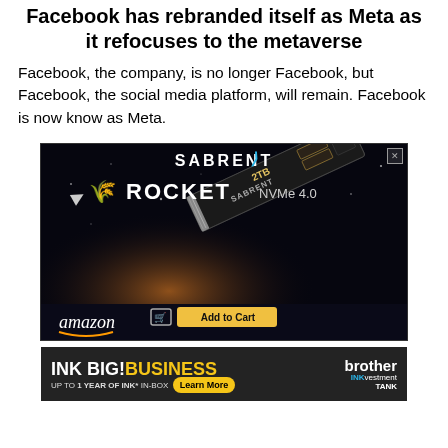Facebook has rebranded itself as Meta as it refocuses to the metaverse
Facebook, the company, is no longer Facebook, but Facebook, the social media platform, will remain. Facebook is now know as Meta.
[Figure (photo): Advertisement for Sabrent Rocket NVMe 4.0 SSD on Amazon with 'Add to Cart' button]
[Figure (photo): Advertisement for Brother INKvestment TANK printer: INK BIG! BUSINESS, UP TO 1 YEAR OF INK* IN-BOX, Learn More button]